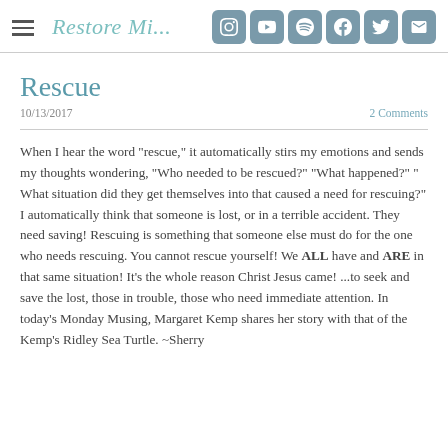Restore Ministry — social icons: Instagram, YouTube, Spotify, Facebook, Twitter, Email
Rescue
10/13/2017    2 Comments
When I hear the word "rescue," it automatically stirs my emotions and sends my thoughts wondering, "Who needed to be rescued?" "What happened?" " What situation did they get themselves into that caused a need for rescuing?" I automatically think that someone is lost, or in a terrible accident. They need saving! Rescuing is something that someone else must do for the one who needs rescuing. You cannot rescue yourself! We ALL have and ARE in that same situation! It's the whole reason Christ Jesus came! ...to seek and save the lost, those in trouble, those who need immediate attention. In today's Monday Musing, Margaret Kemp shares her story with that of the Kemp's Ridley Sea Turtle. ~Sherry